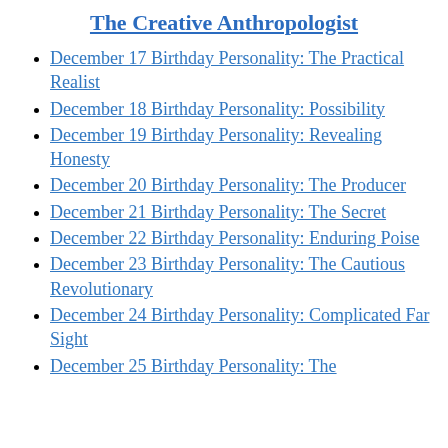The Creative Anthropologist
December 17 Birthday Personality: The Practical Realist
December 18 Birthday Personality: Possibility
December 19 Birthday Personality: Revealing Honesty
December 20 Birthday Personality: The Producer
December 21 Birthday Personality: The Secret
December 22 Birthday Personality: Enduring Poise
December 23 Birthday Personality: The Cautious Revolutionary
December 24 Birthday Personality: Complicated Far Sight
December 25 Birthday Personality: The